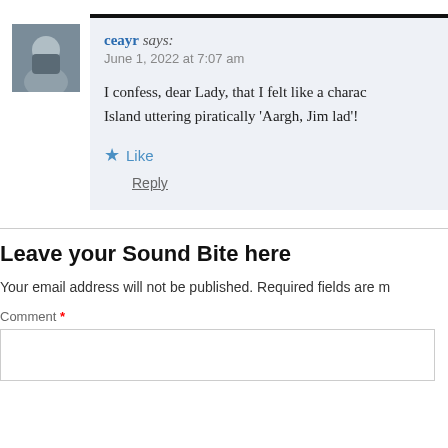ceayr says: June 1, 2022 at 7:07 am
I confess, dear Lady, that I felt like a chara Island uttering piratically ‘Aargh, Jim lad’!
Like
Reply
Leave your Sound Bite here
Your email address will not be published. Required fields are m
Comment *